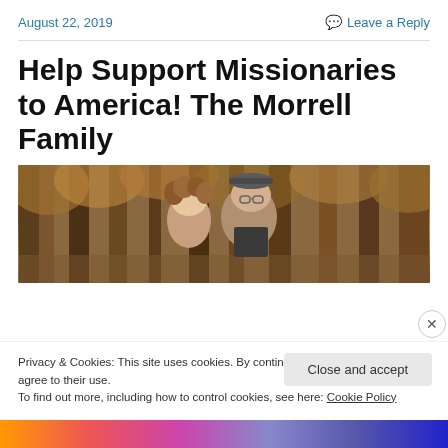August 22, 2019
Leave a Reply
Help Support Missionaries to America! The Morrell Family
[Figure (photo): A couple posing outdoors in a wooded area with autumn foliage. The woman has curly hair and the man is wearing a flat cap and vest.]
Privacy & Cookies: This site uses cookies. By continuing to use this website, you agree to their use.
To find out more, including how to control cookies, see here: Cookie Policy
Close and accept